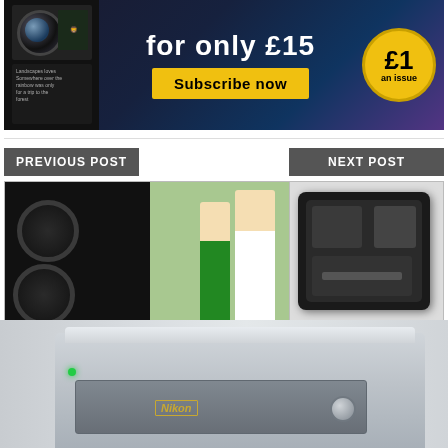[Figure (photo): Magazine subscription advertisement banner with camera lens imagery, 'for only £15', Subscribe now button, and £1 an issue badge]
[Figure (photo): Previous post thumbnail: Phase One Capture One Pro software - two people with camera equipment]
PREVIOUS POST
Phase One updates Capture One Pro software
[Figure (photo): Next post thumbnail: Battery-charging storage case for cameras/accessories]
NEXT POST
Battery-charging storage case targets on-the-go photographers
Taboola Feed
[Figure (photo): Nikon branded storage/media device with silver casing and drawer]